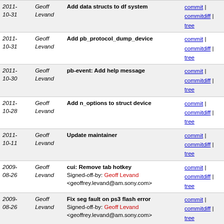| Date | Author | Commit message | Links |
| --- | --- | --- | --- |
| 2011-10-31 | Geoff Levand | Add data structs to df system | commit | commitdiff | tree |
| 2011-10-31 | Geoff Levand | Add pb_protocol_dump_device | commit | commitdiff | tree |
| 2011-10-30 | Geoff Levand | pb-event: Add help message | commit | commitdiff | tree |
| 2011-10-28 | Geoff Levand | Add n_options to struct device | commit | commitdiff | tree |
| 2011-10-11 | Geoff Levand | Update maintainer | commit | commitdiff | tree |
| 2009-08-26 | Geoff Levand | cui: Remove tab hotkey
Signed-off-by: Geoff Levand <geoffrey.levand@am.sony.com> | commit | commitdiff | tree |
| 2009-08-26 | Geoff Levand | Fix seg fault on ps3 flash error
Signed-off-by: Geoff Levand <geoffrey.levand@am.sony.com> | commit | commitdiff | tree |
| 2009-08-04 | Geoff Levand | Fix minor typo in discover-client file descriptor check
Signed-off-by: Geoff Levand <geoffrey.levand@am.sony.com> | commit | commitdiff | tree |
| 2009-07-09 | Geoff Levand | Iterate over all conf file parsers
Signed-off-by: Geoff Levand <geoffrey.levand@am.sony.com> | commit | commitdiff | tree |
| 2009-07-09 | Geoff Levand | Delete kexec temporary files before rebooting
Signed-off-by: Geoff Levand <geoffrey.levand@am.sony.com> | commit | commitdiff | tree |
| 2009- | Geoff | Build test UI program with tests | commit | |